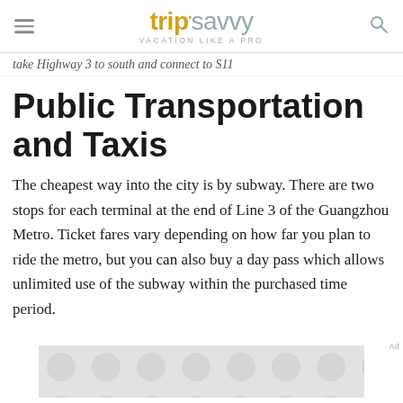tripsavvy VACATION LIKE A PRO
take Highway 3 to south and connect to S11
Public Transportation and Taxis
The cheapest way into the city is by subway. There are two stops for each terminal at the end of Line 3 of the Guangzhou Metro. Ticket fares vary depending on how far you plan to ride the metro, but you can also buy a day pass which allows unlimited use of the subway within the purchased time period.
[Figure (other): Advertisement placeholder with circular pattern background]